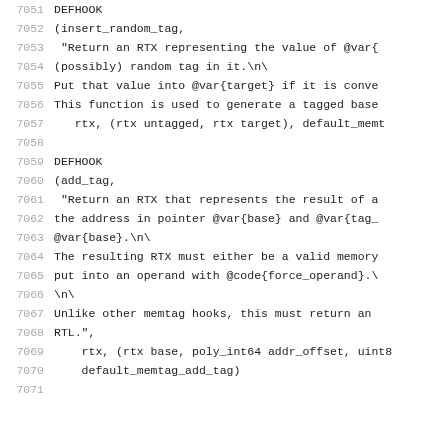Code listing lines 7051-7071 showing DEFHOOK definitions for insert_random_tag and add_tag